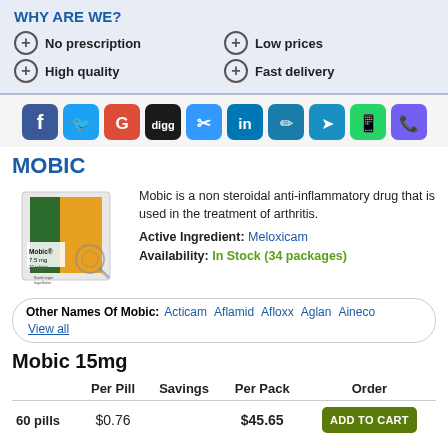WHY ARE WE?
No prescription
Low prices
High quality
Fast delivery
[Figure (infographic): Social media sharing buttons: Facebook, Twitter, Google, Digg, Delicious, LinkedIn, Pocket, Telegram, WhatsApp, Viber]
MOBIC
[Figure (photo): Mobic 7.5mg tablet box by Boehringer Ingelheim with magnifying glass icon]
Mobic is a non steroidal anti-inflammatory drug that is used in the treatment of arthritis.
Active Ingredient: Meloxicam
Availability: In Stock (34 packages)
Other Names Of Mobic: Acticam Aflamid Afloxx Aglan Aineco View all
Mobic 15mg
|  | Per Pill | Savings | Per Pack | Order |
| --- | --- | --- | --- | --- |
| 60 pills | $0.76 |  | $45.65 | ADD TO CART |